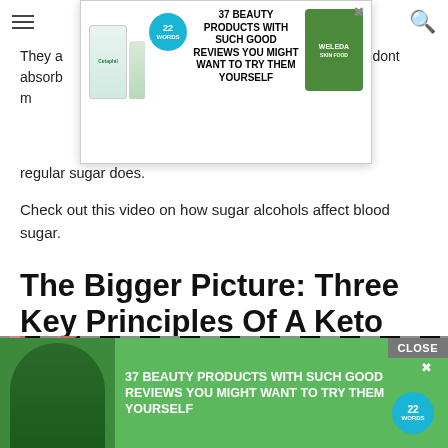[Figure (screenshot): Top advertisement banner: Cetaphil and Weleda products with text '37 BEAUTY PRODUCTS WITH SUCH GOOD REVIEWS YOU MIGHT WANT TO TRY THEM YOURSELF' and circular badge '22 WORDS']
They a[re not absorbed like regular sugars. That m]eans they don't raise your blood glucose levels like regular sugar does.
Check out this video on how sugar alcohols affect blood sugar.
The Bigger Picture: Three Key Principles Of A Keto
[Figure (screenshot): Bottom advertisement banner on green background with a model and text '37 BEAUTY PRODUCTS WITH SUCH GOOD REVIEWS YOU MIGHT WANT TO TRY THEM YOURSELF' and circular badge '22 WORDS'. CLOSE button in grey top-right.]